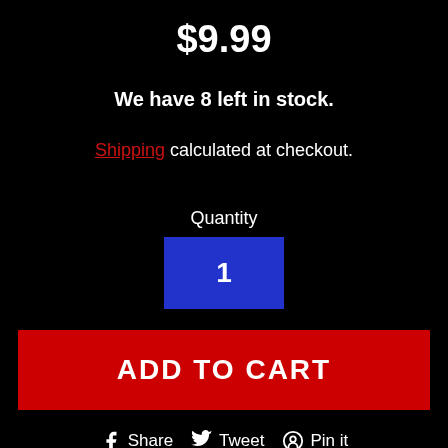$9.99
We have 8 left in stock.
Shipping calculated at checkout.
Quantity
1
ADD TO CART
Share  Tweet  Pin it
Grindal worms (Enchytraeus buchholzi) are a small